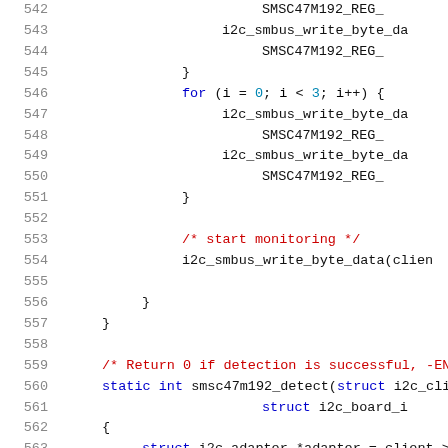[Figure (screenshot): Source code listing (C language) showing lines 542-563 of a kernel driver file. Lines include i2c_smbus_write_byte_data calls, SMSC47M192_REG references, a for loop, closing braces, a comment about start monitoring, and the beginning of a smsc47m192_detect function.]